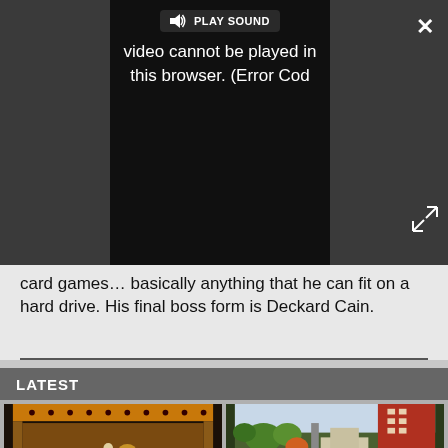[Figure (screenshot): Video player overlay showing 'PLAY SOUND' button and error message: 'video cannot be played in this browser. (Error Cod' on a dark background, with X close button and expand icon]
card games... basically anything that he can fit on a hard drive. His final boss form is Deckard Cain.
LATEST
[Figure (screenshot): Thumbnail of a retro top-down video game with golden/orange dungeon tiles]
[Figure (screenshot): Thumbnail of a city-builder game showing buildings and streets from above]
[Figure (screenshot): Advertisement banner: WHEN REAL LIFE IS QUARANTINED - BitLife game ad with rainbow background and character icons]